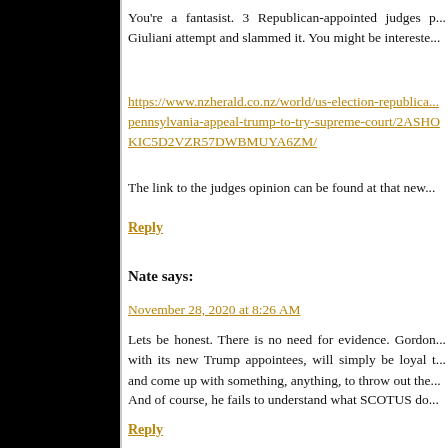You're a fantasist. 3 Republican-appointed judges p... Giuliani attempt and slammed it. You might be intereste...
https://www.nzherald.co.nz/world/us-election-republica... pennsylvania-appeal-trump-to-try-supreme-court/2ASHOKIC5D2VZR57DWBMUYA6ZM/
The link to the judges opinion can be found at that new...
Reply
Nate says:
November 28, 2020 at 8:26 AM
Lets be honest. There is no need for evidence. Gordon... with its new Trump appointees, will simply be loyal t... and come up with something, anything, to throw out the...
And of course, he fails to understand what SCOTUS do...
Reply